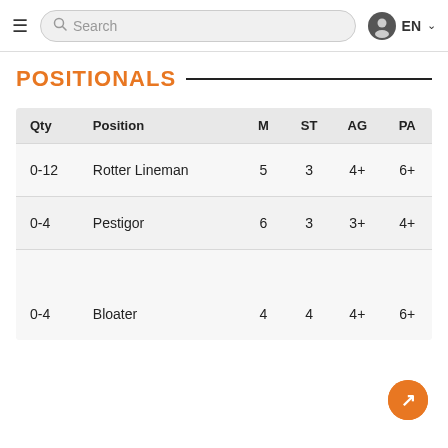Search  EN
POSITIONALS
| Qty | Position | M | ST | AG | PA |
| --- | --- | --- | --- | --- | --- |
| 0-12 | Rotter Lineman | 5 | 3 | 4+ | 6+ |
| 0-4 | Pestigor | 6 | 3 | 3+ | 4+ |
| 0-4 | Bloater | 4 | 4 | 4+ | 6+ |